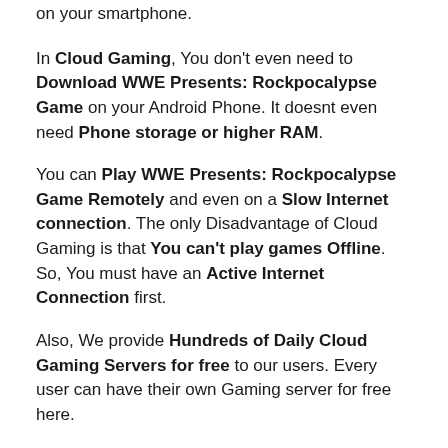on your smartphone.
In Cloud Gaming, You don't even need to Download WWE Presents: Rockpocalypse Game on your Android Phone. It doesnt even need Phone storage or higher RAM.
You can Play WWE Presents: Rockpocalypse Game Remotely and even on a Slow Internet connection. The only Disadvantage of Cloud Gaming is that You can't play games Offline. So, You must have an Active Internet Connection first.
Also, We provide Hundreds of Daily Cloud Gaming Servers for free to our users. Every user can have their own Gaming server for free here.
Enough Talking, Now Im going to teach How to Play WWE Presents: Rockpocalypse Game using Cloud Gaming. Follow